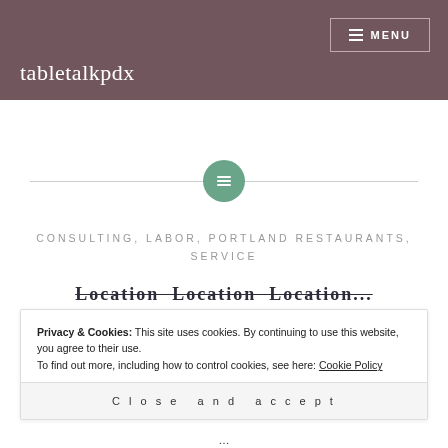tabletalkpdx | MENU
[Figure (other): Teal circular icon with menu/list lines, centered between two horizontal divider lines]
CONSULTING, LABOR, PORTLAND RESTAURANTS, SERVICE
Location Location Location...
Privacy & Cookies: This site uses cookies. By continuing to use this website, you agree to their use.
To find out more, including how to control cookies, see here: Cookie Policy
Close and accept